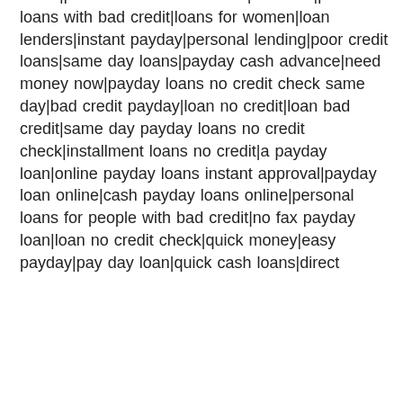credit|personal loans bad credit|fast loan|personal loans with bad credit|loans for women|loan lenders|instant payday|personal lending|poor credit loans|same day loans|payday cash advance|need money now|payday loans no credit check same day|bad credit payday|loan no credit|loan bad credit|same day payday loans no credit check|installment loans no credit|a payday loan|online payday loans instant approval|payday loan online|cash payday loans online|personal loans for people with bad credit|no fax payday loan|loan no credit check|quick money|easy payday|pay day loan|quick cash loans|direct